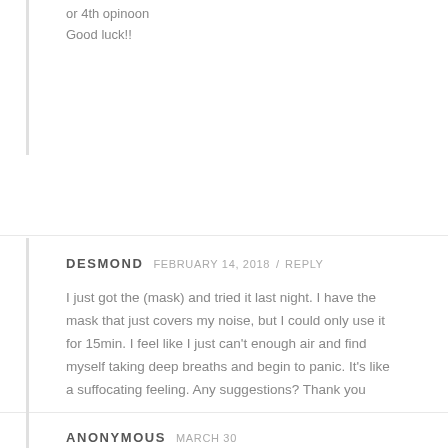or 4th opinoon
Good luck!!
DESMOND  FEBRUARY 14, 2018 / REPLY
I just got the (mask) and tried it last night. I have the mask that just covers my noise, but I could only use it for 15min. I feel like I just can't enough air and find myself taking deep breaths and begin to panic. It's like a suffocating feeling. Any suggestions? Thank you
ANONYMOUS  MARCH 30